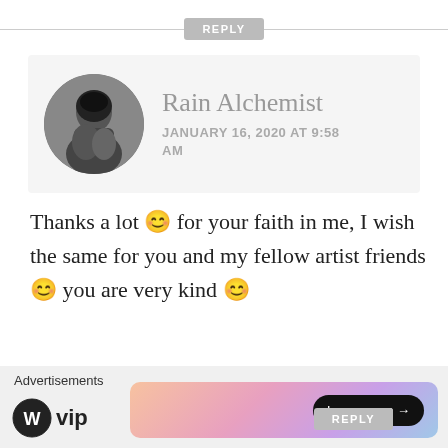REPLY
[Figure (photo): Black and white circular avatar photo of a person with dark hair, looking down]
Rain Alchemist
JANUARY 16, 2020 AT 9:58 AM
Thanks a lot 😊 for your faith in me, I wish the same for you and my fellow artist friends 😊 you are very kind 😊
★ Like
REPLY
Advertisements
[Figure (logo): WordPress VIP logo with WP circle icon and text 'vip']
[Figure (infographic): Colorful gradient ad banner with 'Learn more →' button]